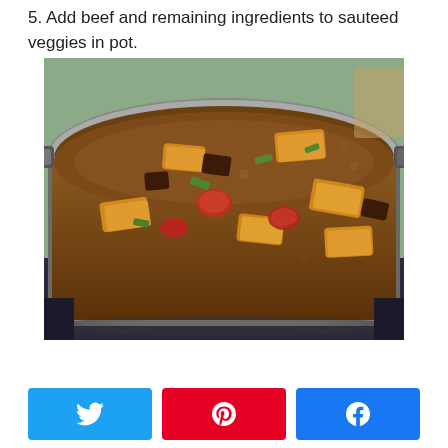5. Add beef and remaining ingredients to sauteed veggies in pot.
[Figure (photo): A large stainless steel pot on a stove filled with a rich brown broth containing chunks of orange sweet potato, red tomatoes, green vegetables, and pieces of beef stew meat.]
[Figure (infographic): Three social media share buttons: Twitter (blue), Pinterest (red), Facebook (blue)]